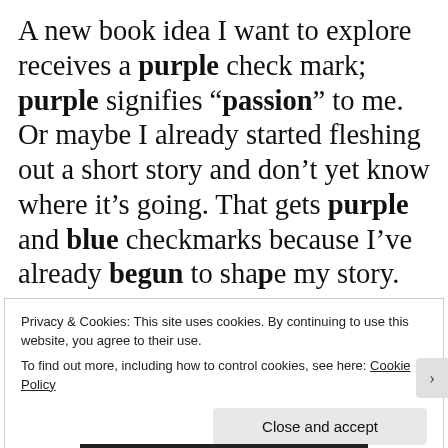A new book idea I want to explore receives a purple check mark; purple signifies “passion” to me. Or maybe I already started fleshing out a short story and don’t yet know where it’s going. That gets purple and blue checkmarks because I’ve already begun to shape my story.
Privacy & Cookies: This site uses cookies. By continuing to use this website, you agree to their use.
To find out more, including how to control cookies, see here: Cookie Policy
Close and accept